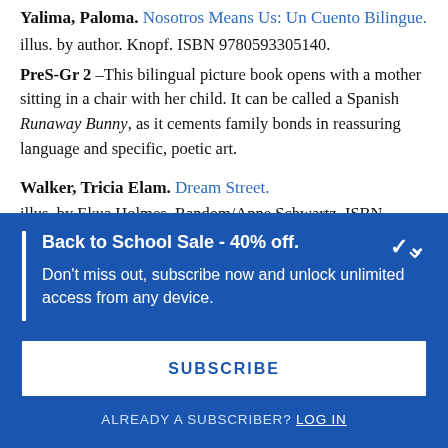Yalima, Paloma. Nosotros Means Us: Un Cuento Bilingue. illus. by author. Knopf. ISBN 9780593305140.
PreS-Gr 2 –This bilingual picture book opens with a mother sitting in a chair with her child. It can be called a Spanish Runaway Bunny, as it cements family bonds in reassuring language and specific, poetic art.
Walker, Tricia Elam. Dream Street.
illus. by Ekua Holmes. Random/Anne Schwartz. ISBN
Back to School Sale - 40% off.
Don't miss out, subscribe now and unlock unlimited access from any device.
SUBSCRIBE
ALREADY A SUBSCRIBER? LOG IN